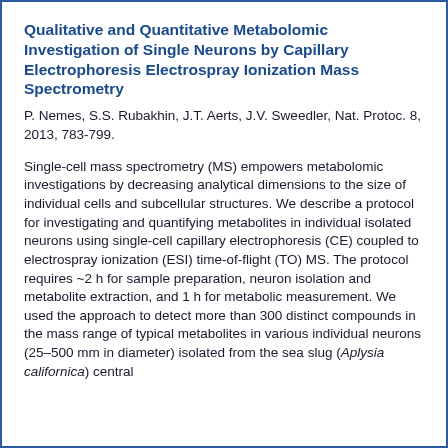Qualitative and Quantitative Metabolomic Investigation of Single Neurons by Capillary Electrophoresis Electrospray Ionization Mass Spectrometry
P. Nemes, S.S. Rubakhin, J.T. Aerts, J.V. Sweedler, Nat. Protoc. 8, 2013, 783-799.
Single-cell mass spectrometry (MS) empowers metabolomic investigations by decreasing analytical dimensions to the size of individual cells and subcellular structures. We describe a protocol for investigating and quantifying metabolites in individual isolated neurons using single-cell capillary electrophoresis (CE) coupled to electrospray ionization (ESI) time-of-flight (TO) MS. The protocol requires ~2 h for sample preparation, neuron isolation and metabolite extraction, and 1 h for metabolic measurement. We used the approach to detect more than 300 distinct compounds in the mass range of typical metabolites in various individual neurons (25–500 mm in diameter) isolated from the sea slug (Aplysia californica) central